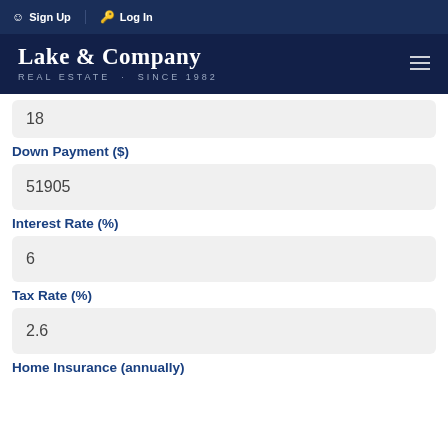Sign Up  Log In
[Figure (logo): Lake & Company Real Estate logo with text 'REAL ESTATE · SINCE 1982' on dark navy background]
18
Down Payment ($)
51905
Interest Rate (%)
6
Tax Rate (%)
2.6
Home Insurance (annually)